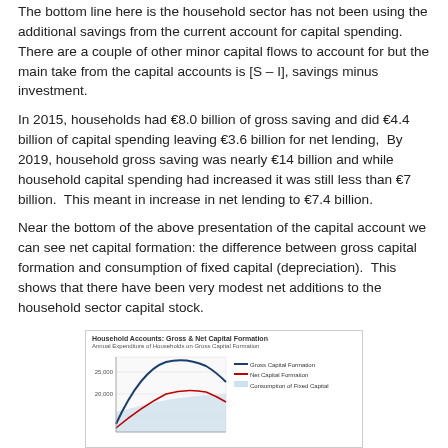The bottom line here is the household sector has not been using the additional savings from the current account for capital spending. There are a couple of other minor capital flows to account for but the main take from the capital accounts is [S – I], savings minus investment.
In 2015, households had €8.0 billion of gross saving and did €4.4 billion of capital spending leaving €3.6 billion for net lending. By 2019, household gross saving was nearly €14 billion and while household capital spending had increased it was still less than €7 billion. This meant in increase in net lending to €7.4 billion.
Near the bottom of the above presentation of the capital account we can see net capital formation: the difference between gross capital formation and consumption of fixed capital (depreciation). This shows that there have been very modest net additions to the household sector capital stock.
[Figure (line-chart): Line chart showing Annual Expenditure of Households on Gross Capital Formation, with three series: Gross Capital Formation (blue), Net Capital Formation (red), and Consumption of Fixed Capital (light blue/shaded). Y-axis shows values around 20,000–25,000. Chart is partially visible/cropped at bottom.]